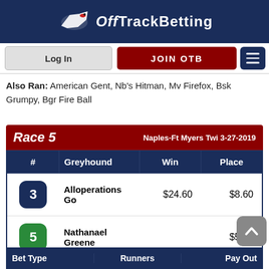OffTrackBetting
Also Ran: American Gent, Nb's Hitman, Mv Firefox, Bsk Grumpy, Bgr Fire Ball
| # | Greyhound | Win | Place |
| --- | --- | --- | --- |
| 3 | Alloperations Go | $24.60 | $8.60 |
| 5 | Nathanael Greene |  | $5.80 |
| 8 | Flying Greyjoy |  |  |
| Bet Type | Runners | Pay Out |
| --- | --- | --- |